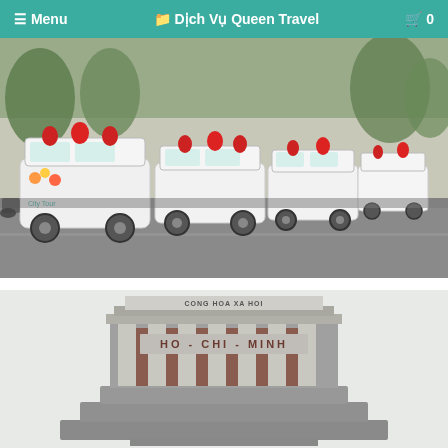≡ Menu   🗂 Dịch Vụ Queen Travel   🛒 0
[Figure (photo): A row of white electric tourist carts decorated with red lanterns and flowers parked along a street in Vietnam.]
[Figure (photo): Ho Chi Minh Mausoleum — a large granite building with columns and the inscription 'HO-CHI-MINH' on the facade.]